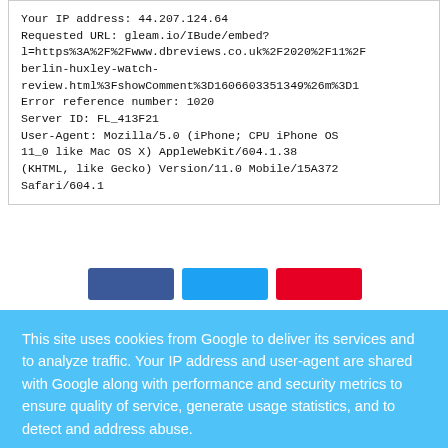Your IP address: 44.207.124.64
Requested URL: gleam.io/IBude/embed?l=https%3A%2F%2Fwww.dbreviews.co.uk%2F2020%2F11%2Fberlin-huxley-watch-review.html%3FshowComment%3D1606603351349%26m%3D1
Error reference number: 1020
Server ID: FL_413F21
User-Agent: Mozilla/5.0 (iPhone; CPU iPhone OS 11_0 like Mac OS X) AppleWebKit/604.1.38 (KHTML, like Gecko) Version/11.0 Mobile/15A372 Safari/604.1
This site uses cookies from Google to deliver its services and to analyze traffic. Your IP address and user-agent are shared with Google along with performance and security metrics to ensure quality of service, generate usage statistics, and to detect and address abuse.